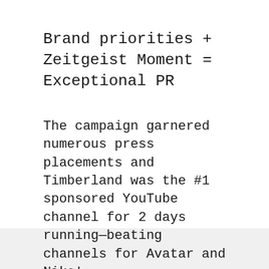Brand priorities + Zeitgeist Moment = Exceptional PR
The campaign garnered numerous press placements and Timberland was the #1 sponsored YouTube channel for 2 days running—beating channels for Avatar and Nike!